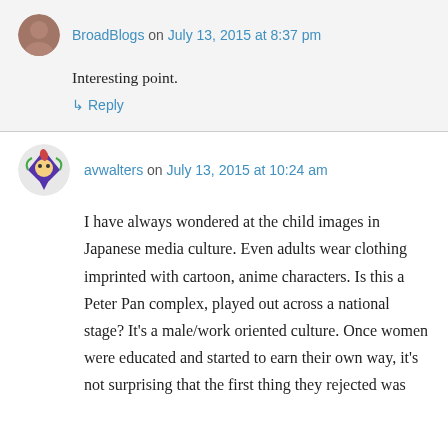BroadBlogs on July 13, 2015 at 8:37 pm
Interesting point.
↳ Reply
avwalters on July 13, 2015 at 10:24 am
I have always wondered at the child images in Japanese media culture. Even adults wear clothing imprinted with cartoon, anime characters. Is this a Peter Pan complex, played out across a national stage? It's a male/work oriented culture. Once women were educated and started to earn their own way, it's not surprising that the first thing they rejected was